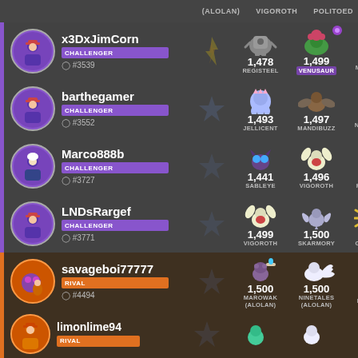(ALOLAN)  VIGOROTH  POLITOED
x3DxJimCorn  CHALLENGER  #3539  1,478 REGISTEEL  1,499 VENUSAUR  1,498 MAROWAK (ALOLAN)
barthegamer  CHALLENGER  #3552  1,493 JELLICENT  1,497 MANDIBUZZ  1,490 NINETALES (ALOLAN)
Marco888b  CHALLENGER  #3727  1,441 SABLEYE  1,496 VIGOROTH  1,500 POLITOED
LNDsRargef  CHALLENGER  #3771  1,499 VIGOROTH  1,500 SKARMORY  1,495 GALVANTULA
savageboi77777  RIVAL  #4494  1,500 MAROWAK (ALOLAN)  1,500 NINETALES (ALOLAN)  1,498 LANTURN
limonlime94  RIVAL